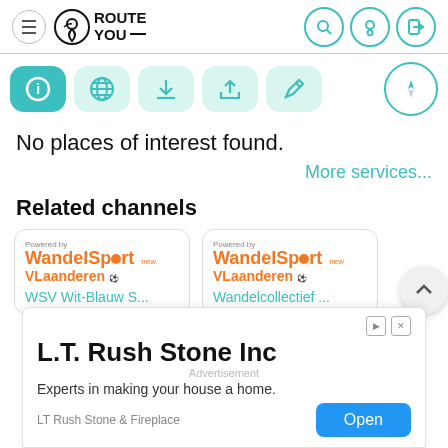RouteYou navigation header with hamburger menu, logo, search, location, and login icons
[Figure (screenshot): Toolbar with info (active/teal), globe, download, upload, pencil buttons and compass navigation icon]
No places of interest found.
More services...
Related channels
[Figure (logo): WandelSport Vlaanderen logo card - WSV Wit-Blauw S...]
[Figure (logo): WandelSport Vlaanderen logo card - Wandelcollectief ...]
[Figure (screenshot): Advertisement banner: L.T. Rush Stone Inc - Experts in making your house a home. LT Rush Stone & Fireplace Open button]